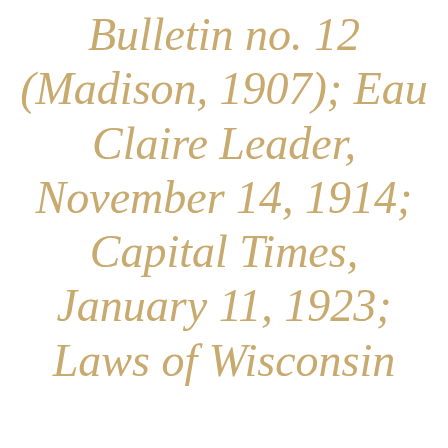Bulletin no. 12 (Madison, 1907); Eau Claire Leader, November 14, 1914; Capital Times, January 11, 1923; Laws of Wisconsin